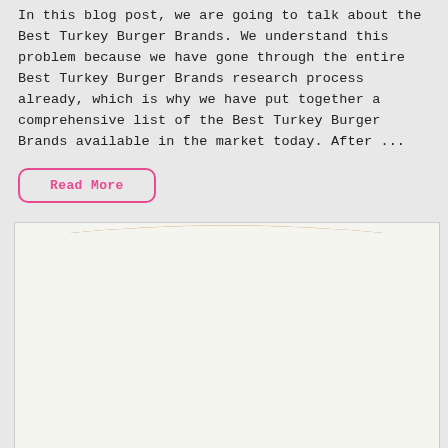In this blog post, we are going to talk about the Best Turkey Burger Brands. We understand this problem because we have gone through the entire Best Turkey Burger Brands research process already, which is why we have put together a comprehensive list of the Best Turkey Burger Brands available in the market today. After ...
Read More
[Figure (photo): A photo of a plush pepperoni pizza slice toy/pillow with a golden-brown crust and red sauce with pepperoni toppings on a white background.]